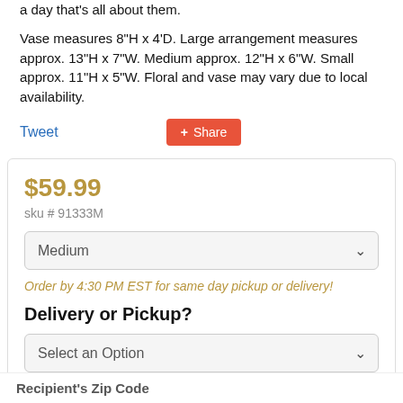a day that's all about them.
Vase measures 8"H x 4'D. Large arrangement measures approx. 13"H x 7"W. Medium approx. 12"H x 6"W. Small approx. 11"H x 5"W. Floral and vase may vary due to local availability.
Tweet
+ Share
$59.99
sku # 91333M
Medium
Order by 4:30 PM EST for same day pickup or delivery!
Delivery or Pickup?
Select an Option